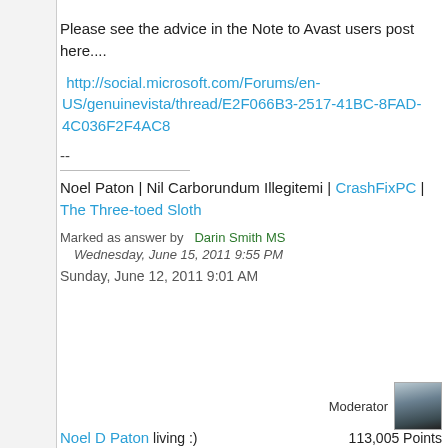Please see the advice in the Note to Avast users post here....
http://social.microsoft.com/Forums/en-US/genuinevista/thread/E2F066B3-2517-41BC-8FAD-4C036F2F4AC8
--
Noel Paton | Nil Carborundum Illegitemi | CrashFixPC | The Three-toed Sloth
Marked as answer by  Darin Smith MS  Wednesday, June 15, 2011 9:55 PM
Sunday, June 12, 2011 9:01 AM
Moderator
Noel D Paton  living :)   113,005 Points